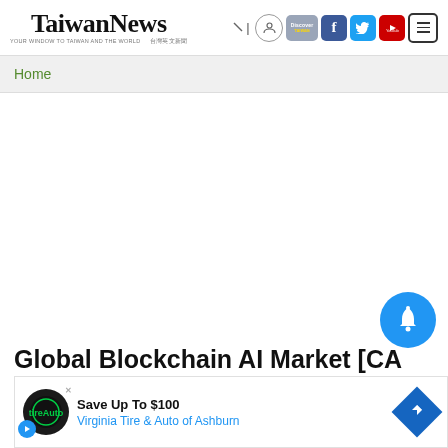Taiwan News
Home
Global Blockchain AI Market [CA...
27.2%...
Unst...
[Figure (other): Advertisement banner: Save Up To $100 Virginia Tire & Auto of Ashburn]